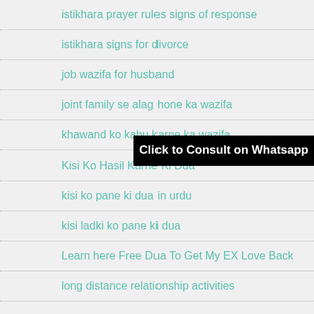istikhara prayer rules signs of response
istikhara signs for divorce
job wazifa for husband
joint family se alag hone ka wazifa
khawand ko kabu karne ka wazifa
Kisi Ko Hasil Karne Ki Dua
kisi ko pane ki dua in urdu
kisi ladki ko pane ki dua
Learn here Free Dua To Get My EX Love Back
long distance relationship activities